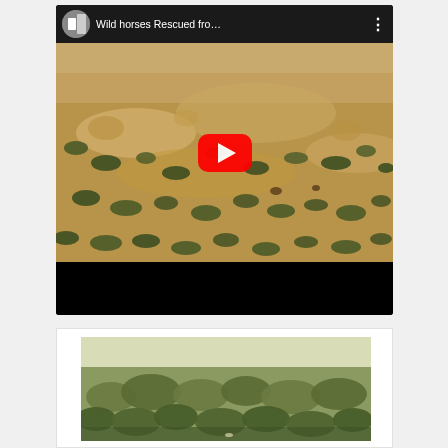[Figure (screenshot): YouTube video embed showing 'Wild horses Rescued fro...' with a desert/scrubland aerial thumbnail and a red YouTube play button in the center. Video has a dark header bar with channel avatar and title, and a black bar at the bottom.]
[Figure (photo): Partial image at bottom of page showing sagebrush/scrubland landscape, appearing to be a second embedded image or video thumbnail.]